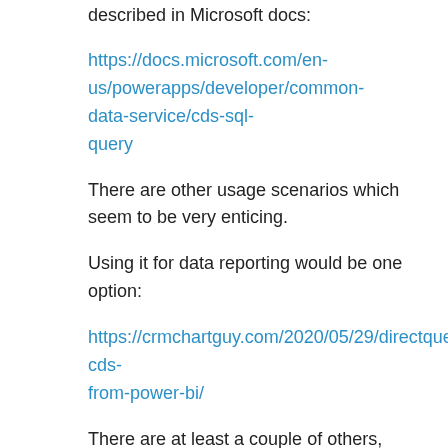described in Microsoft docs:
https://docs.microsoft.com/en-us/powerapps/developer/common-data-service/cds-sql-query
There are other usage scenarios which seem to be very enticing.
Using it for data reporting would be one option:
https://crmchartguy.com/2020/05/29/directquery-cds-from-power-bi/
There are at least a couple of others, though.
1. We can use TDS endpoint when developing custom applications that need access to CDS
For example, I have updated my angular portal template to